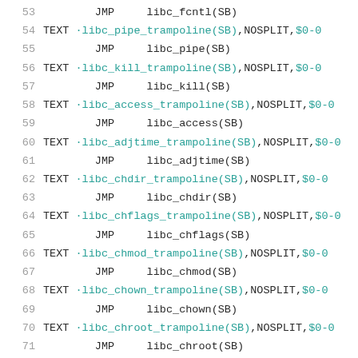53        JMP     libc_fcntl(SB)
54  TEXT ·libc_pipe_trampoline(SB),NOSPLIT,$0-0
55        JMP     libc_pipe(SB)
56  TEXT ·libc_kill_trampoline(SB),NOSPLIT,$0-0
57        JMP     libc_kill(SB)
58  TEXT ·libc_access_trampoline(SB),NOSPLIT,$0-0
59        JMP     libc_access(SB)
60  TEXT ·libc_adjtime_trampoline(SB),NOSPLIT,$0-0
61        JMP     libc_adjtime(SB)
62  TEXT ·libc_chdir_trampoline(SB),NOSPLIT,$0-0
63        JMP     libc_chdir(SB)
64  TEXT ·libc_chflags_trampoline(SB),NOSPLIT,$0-0
65        JMP     libc_chflags(SB)
66  TEXT ·libc_chmod_trampoline(SB),NOSPLIT,$0-0
67        JMP     libc_chmod(SB)
68  TEXT ·libc_chown_trampoline(SB),NOSPLIT,$0-0
69        JMP     libc_chown(SB)
70  TEXT ·libc_chroot_trampoline(SB),NOSPLIT,$0-0
71        JMP     libc_chroot(SB)
72  TEXT ·libc_close_trampoline(SB),NOSPLIT,$0-0
73        JMP     libc_close(SB)
74  TEXT ·libc_close_trampoline(SB),NOSPLIT,$0-0...